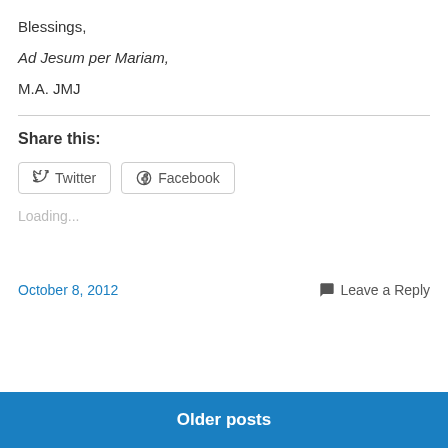Blessings,
Ad Jesum per Mariam,
M.A. JMJ
Share this:
Twitter   Facebook
Loading...
October 8, 2012
Leave a Reply
Older posts